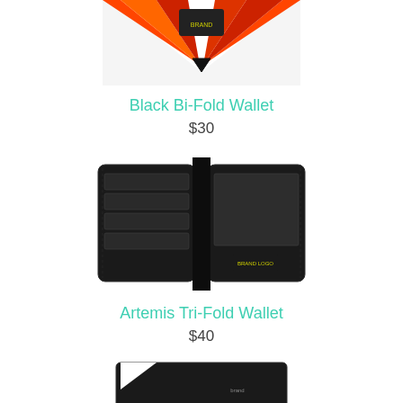[Figure (photo): Top portion of a red/orange wallet, partially cropped at top of page]
Black Bi-Fold Wallet
$30
[Figure (photo): Open black bi-fold wallet showing interior card slots and compartments with a small logo]
Artemis Tri-Fold Wallet
$40
[Figure (photo): Partially visible black wallet at bottom of page, appears to be a flat/envelope style]